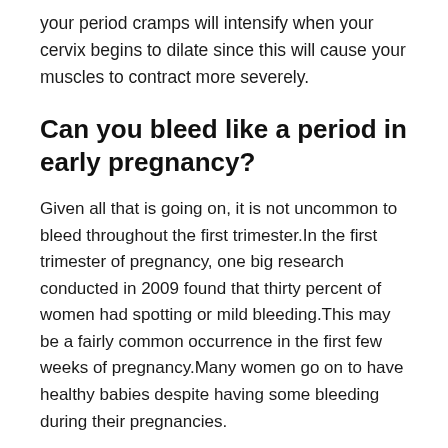your period cramps will intensify when your cervix begins to dilate since this will cause your muscles to contract more severely.
Can you bleed like a period in early pregnancy?
Given all that is going on, it is not uncommon to bleed throughout the first trimester.In the first trimester of pregnancy, one big research conducted in 2009 found that thirty percent of women had spotting or mild bleeding.This may be a fairly common occurrence in the first few weeks of pregnancy.Many women go on to have healthy babies despite having some bleeding during their pregnancies.